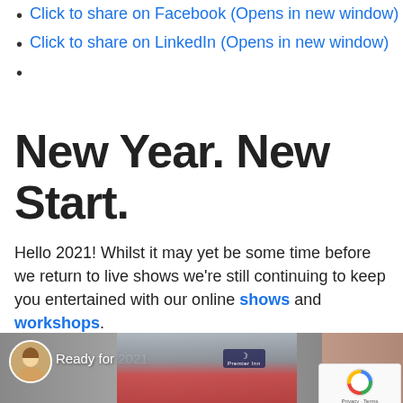Click to share on Facebook (Opens in new window)
Click to share on LinkedIn (Opens in new window)
New Year. New Start.
Hello 2021! Whilst it may yet be some time before we return to live shows we're still continuing to keep you entertained with our online shows and workshops.
[Figure (screenshot): Video thumbnail showing a woman with blonde hair in a circular avatar, text 'Ready for 2021', a Premier Inn building in the background, and a person on the right edge. A reCAPTCHA widget with 'Privacy · Terms' text appears in the lower right.]